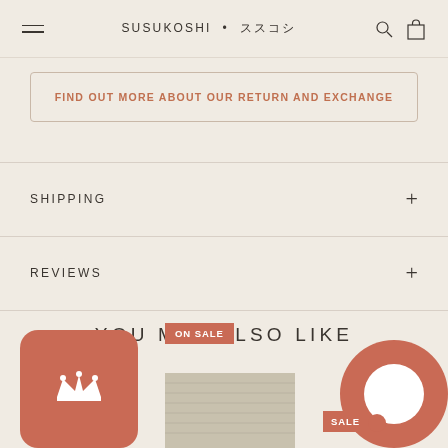SUSUKOSHI • ススコシ
FIND OUT MORE ABOUT OUR RETURN AND EXCHANGE
SHIPPING
REVIEWS
YOU MAY ALSO LIKE
[Figure (other): Crown loyalty badge icon (rounded rectangle, terracotta color)]
[Figure (other): Product image with ON SALE badge]
[Figure (other): Chat bubble icon with SALE badge on right side]